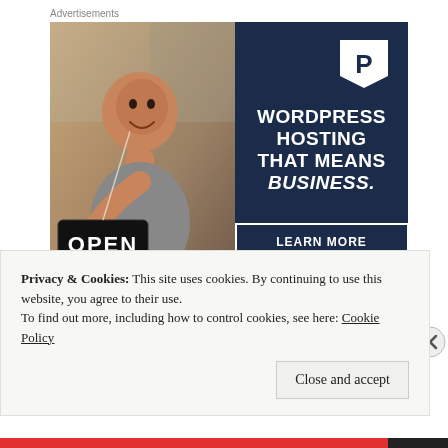Advertisements
[Figure (photo): Advertisement banner: Left half shows a Black woman smiling and holding an OPEN sign in a shop window. Right half has a dark navy background with a white P logo (pentagon shape), bold white text reading 'WORDPRESS HOSTING THAT MEANS BUSINESS.' and a 'LEARN MORE' button outlined in white.]
REPORT THIS AD
Privacy & Cookies: This site uses cookies. By continuing to use this website, you agree to their use.
To find out more, including how to control cookies, see here: Cookie Policy
Close and accept